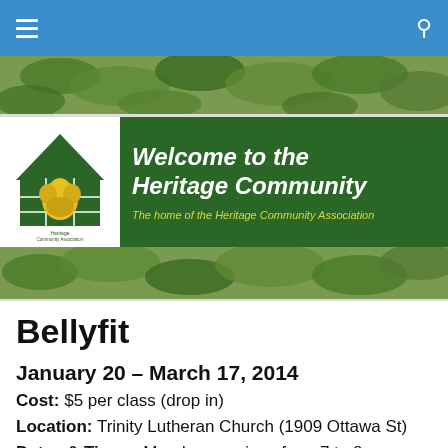[Figure (screenshot): Blue navigation bar with hamburger menu icon on left and search icon on right]
[Figure (photo): Tree foliage photo strip used as hero banner background]
[Figure (illustration): Heritage Community Association banner with logo on dark green background. Logo shows a house outline with a yellow rose inside a grid. Text reads: Welcome to the Heritage Community — The home of the Heritage Community Association]
Bellyfit
January 20 – March 17, 2014
Cost: $5 per class (drop in)
Location: Trinity Lutheran Church (1909 Ottawa St)
Dates & Times: Monday evenings from 7 to 8 pm, from